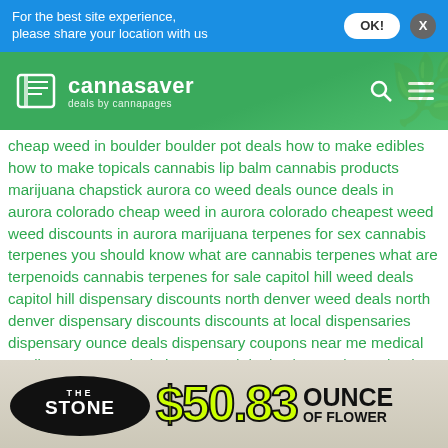For the best site experience, please share your location with us
[Figure (logo): Cannasaver logo with book icon and tagline 'deals by cannapages' on green background with cannabis leaf pattern]
cheap weed in boulder boulder pot deals how to make edibles how to make topicals cannabis lip balm cannabis products marijuana chapstick aurora co weed deals ounce deals in aurora colorado cheap weed in aurora colorado cheapest weed weed discounts in aurora marijuana terpenes for sex cannabis terpenes you should know what are cannabis terpenes what are terpenoids cannabis terpenes for sale capitol hill weed deals capitol hill dispensary discounts north denver weed deals north denver dispensary discounts discounts at local dispensaries dispensary ounce deals dispensary coupons near me medical marijuana ounce deal cheap weed deals Live Resin Deals The Lodge Cannabis Denver Wax Deals
[Figure (infographic): The Stone dispensary advertisement showing $50.83 ounce of flower deal with black oval logo and bright yellow-green price text]